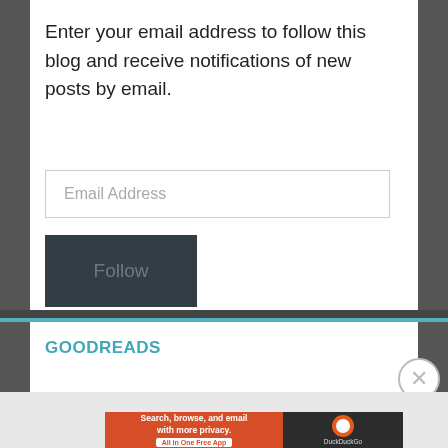Enter your email address to follow this blog and receive notifications of new posts by email.
[Figure (screenshot): Email Address input field with placeholder text]
[Figure (screenshot): Dark grey Follow button]
GOODREADS
Advertisements
[Figure (screenshot): DuckDuckGo advertisement banner: Search, browse, and email with more privacy. All in One Free App]